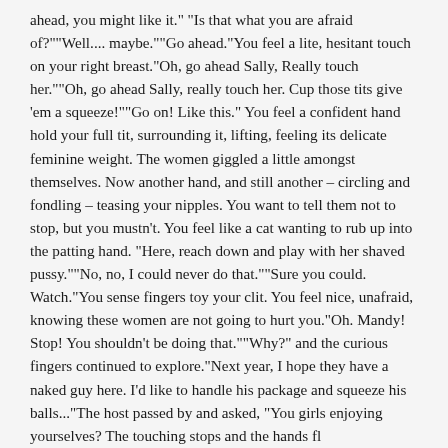ahead, you might like it." "Is that what you are afraid of?""Well.... maybe.""Go ahead."You feel a lite, hesitant touch on your right breast."Oh, go ahead Sally, Really touch her.""Oh, go ahead Sally, really touch her. Cup those tits give 'em a squeeze!""Go on! Like this." You feel a confident hand hold your full tit, surrounding it, lifting, feeling its delicate feminine weight. The women giggled a little amongst themselves. Now another hand, and still another – circling and fondling – teasing your nipples. You want to tell them not to stop, but you mustn't. You feel like a cat wanting to rub up into the patting hand. "Here, reach down and play with her shaved pussy.""No, no, I could never do that.""Sure you could. Watch."You sense fingers toy your clit. You feel nice, unafraid, knowing these women are not going to hurt you."Oh. Mandy! Stop! You shouldn't be doing that.""Why?" and the curious fingers continued to explore."Next year, I hope they have a naked guy here. I'd like to handle his package and squeeze his balls..."The host passed by and asked, "You girls enjoying yourselves? The touching stops and the hands fl...